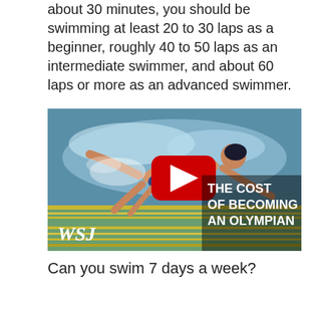about 30 minutes, you should be swimming at least 20 to 30 laps as a beginner, roughly 40 to 50 laps as an intermediate swimmer, and about 60 laps or more as an advanced swimmer.
[Figure (screenshot): YouTube video thumbnail from WSJ showing a competitive swimmer doing butterfly stroke in a pool, with a red YouTube play button overlay. Text on the thumbnail reads 'THE COST OF BECOMING AN OLYMPIAN' with the WSJ logo in the bottom left.]
Can you swim 7 days a week?